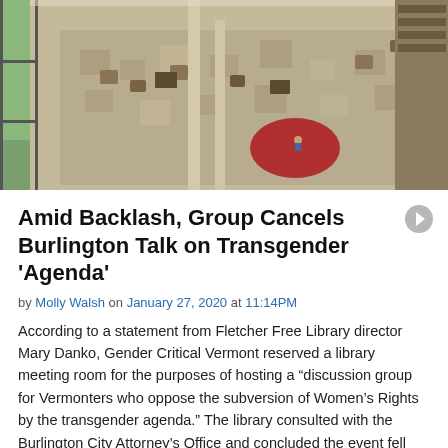[Figure (photo): Aerial/overhead view of a library interior atrium with seating areas, tables, chairs, patterned carpet, a red circular rug, bookshelves, and large windows.]
Amid Backlash, Group Cancels Burlington Talk on Transgender 'Agenda'
by Molly Walsh on January 27, 2020 at 11:14PM
According to a statement from Fletcher Free Library director Mary Danko, Gender Critical Vermont reserved a library meeting room for the purposes of hosting a “discussion group for Vermonters who oppose the subversion of Women’s Rights by the transgender agenda.” The library consulted with the Burlington City Attorney’s Office and concluded the event fell within library guidelines for reserving space and should be allowed, Danko wrote in the statement, which was posted Monday to the library’s website.
Funding Cuts Force Vermont's 2-1-1 Help